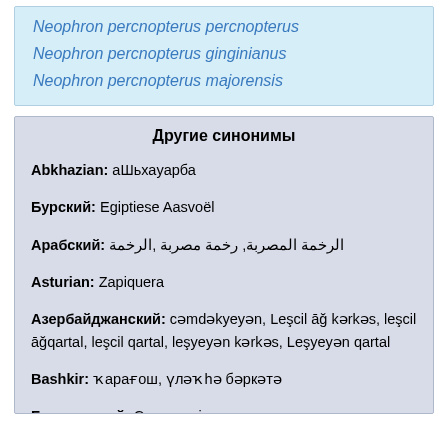Neophron percnopterus percnopterus
Neophron percnopterus ginginianus
Neophron percnopterus majorensis
Другие синонимы
Abkhazian: аШьхаyарба
Бурский: Egiptiese Aasvoël
Арабский: الرخمة, الرخمة المصربة, رخمة مصربة
Asturian: Zapiquera
Азербайджанский: cəmdəkyeyən, Leşcil āğ kərkəs, leşcil āğqartal, leşcil qartal, leşyeyən kərkəs, Leşyeyən qartal
Bashkir: ҡарағош, үлəҡhə бəркəтə
Белорусский: Сцярвятнік
Болгарский: Египетски лешояд
бенгальский: শকুন মশা , শকুন গান
Breizh/Breton: ...